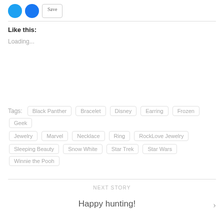[Figure (other): Two circular social share buttons (Twitter blue, Facebook blue) and a pill-shaped button]
Like this:
Loading...
Tags: Black Panther  Bracelet  Disney  Earring  Frozen  Geek  Jewelry  Marvel  Necklace  Ring  RockLove Jewelry  Sleeping Beauty  Snow White  Star Trek  Star Wars  Winnie the Pooh
NEXT STORY
Happy hunting!